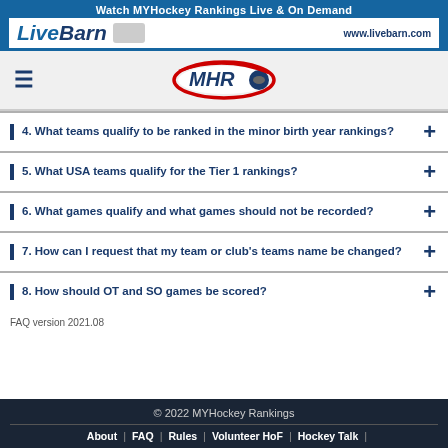[Figure (illustration): LiveBarn banner advertisement with blue background, text 'Watch MYHockey Rankings Live & On Demand', LiveBarn logo and www.livebarn.com URL]
[Figure (logo): MYHockey Rankings (MHR) logo with red and blue oval swoosh, hamburger menu icon on left]
4. What teams qualify to be ranked in the minor birth year rankings?
5. What USA teams qualify for the Tier 1 rankings?
6. What games qualify and what games should not be recorded?
7. How can I request that my team or club's teams name be changed?
8. How should OT and SO games be scored?
FAQ version 2021.08
© 2022 MYHockey Rankings  |  About  |  FAQ  |  Rules  |  Volunteer HoF  |  Hockey Talk  |